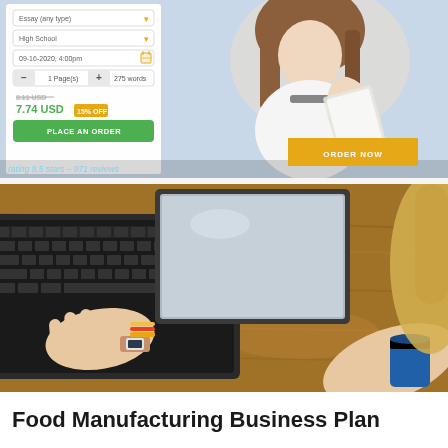[Figure (screenshot): Top banner ad showing an essay writing service with a form on the left (Essay type dropdown, High School dropdown, date 09-16-2020 4:00pm, page/word counter, price 8.11 USD crossed out with 7.74 USD and 15% OFF badge) and a green PLACE AN ORDER button, with a woman reading on the right and an orange ORDER NOW button. Rating bar at bottom: rating 9.5 stars - 971 reviews.]
[Figure (photo): Photo of a blonde woman typing on a laptop keyboard on a wooden table, wearing a watch and colorful bracelets, with blue coffee cup visible.]
Food Manufacturing Business Plan